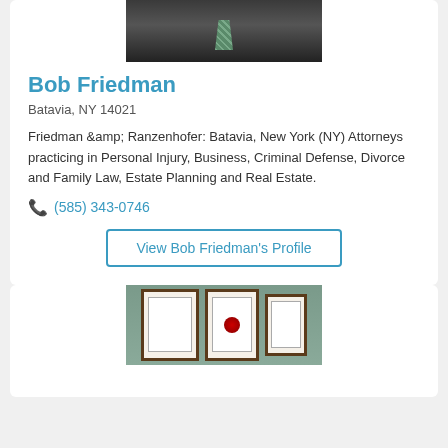[Figure (photo): Headshot of attorney Bob Friedman in dark suit with patterned tie]
Bob Friedman
Batavia, NY 14021
Friedman &amp; Ranzenhofer: Batavia, New York (NY) Attorneys practicing in Personal Injury, Business, Criminal Defense, Divorce and Family Law, Estate Planning and Real Estate.
(585) 343-0746
View Bob Friedman's Profile
[Figure (photo): Photo of three framed certificates/diplomas hung on a teal wall]